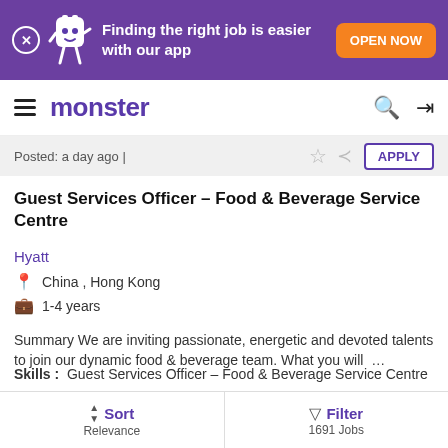[Figure (screenshot): Purple app promotion banner with mascot, text 'Finding the right job is easier with our app' and orange 'OPEN NOW' button]
monster
Posted: a day ago |
Guest Services Officer – Food & Beverage Service Centre
Hyatt
China , Hong Kong
1-4 years
Summary We are inviting passionate, energetic and devoted talents to join our dynamic food & beverage team. What you will …
Skills : Guest Services Officer – Food & Beverage Service Centre
Posted: a day ago |
Sort Relevance
Filter 1691 Jobs